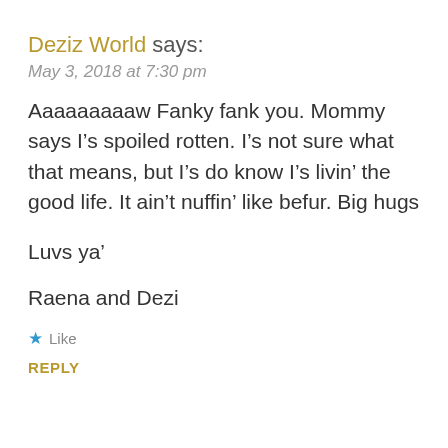Deziz World says:
May 3, 2018 at 7:30 pm
Aaaaaaaaaw Fanky fank you. Mommy says I’s spoiled rotten. I’s not sure what that means, but I’s do know I’s livin’ the good life. It ain’t nuffin’ like befur. Big hugs
Luvs ya’
Raena and Dezi
★ Like
REPLY